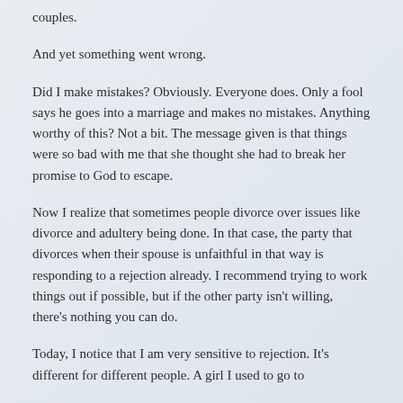couples.
And yet something went wrong.
Did I make mistakes? Obviously. Everyone does. Only a fool says he goes into a marriage and makes no mistakes. Anything worthy of this? Not a bit. The message given is that things were so bad with me that she thought she had to break her promise to God to escape.
Now I realize that sometimes people divorce over issues like divorce and adultery being done. In that case, the party that divorces when their spouse is unfaithful in that way is responding to a rejection already. I recommend trying to work things out if possible, but if the other party isn't willing, there's nothing you can do.
Today, I notice that I am very sensitive to rejection. It's different for different people. A girl I used to go to